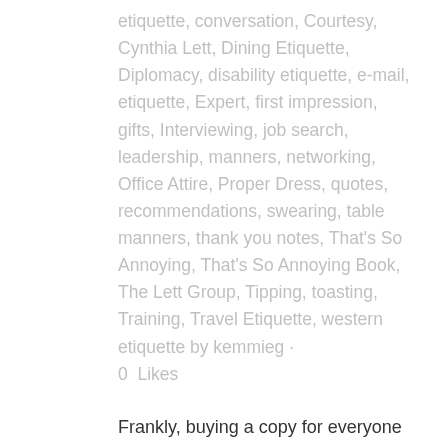etiquette, conversation, Courtesy, Cynthia Lett, Dining Etiquette, Diplomacy, disability etiquette, e-mail, etiquette, Expert, first impression, gifts, Interviewing, job search, leadership, manners, networking, Office Attire, Proper Dress, quotes, recommendations, swearing, table manners, thank you notes, That's So Annoying, That's So Annoying Book, The Lett Group, Tipping, toasting, Training, Travel Etiquette, western etiquette by kemmieg · 0  Likes
Frankly, buying a copy for everyone